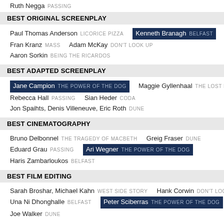Ruth Negga PASSING
BEST ORIGINAL SCREENPLAY
Paul Thomas Anderson LICORICE PIZZA | Kenneth Branagh BELFAST [winner]
Fran Kranz MASS   Adam McKay DON'T LOOK UP
Aaron Sorkin BEING THE RICARDOS
BEST ADAPTED SCREENPLAY
Jane Campion THE POWER OF THE DOG [winner]   Maggie Gyllenhaal THE LOST DAUGHTER
Rebecca Hall PASSING   Sian Heder CODA
Jon Spaihts, Denis Villeneuve, Eric Roth DUNE
BEST CINEMATOGRAPHY
Bruno Delbonnel THE TRAGEDY OF MACBETH   Greig Fraser DUNE
Eduard Grau PASSING   Ari Wegner THE POWER OF THE DOG [winner]
Haris Zambarloukos BELFAST
BEST FILM EDITING
Sarah Broshar, Michael Kahn WEST SIDE STORY   Hank Corwin DON'T LOOK UP
Una Ni Dhonghalle BELFAST   Peter Sciberras THE POWER OF THE DOG [winner]
Joe Walker DUNE